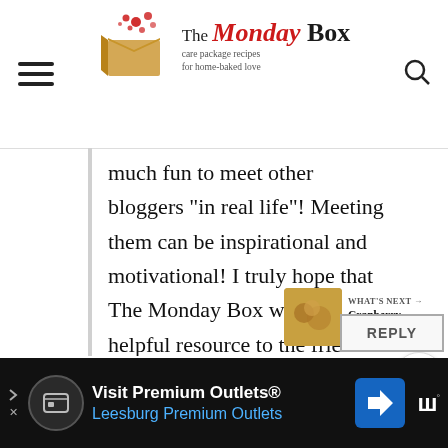The Monday Box — care package recipes for home-baked love
much fun to meet other bloggers "in real life"! Meeting them can be inspirational and motivational! I truly hope that The Monday Box will be a helpful resource to the friends and family of military members. I am a wee bit passionate about sending love (and thanks and appreciation) in the form of baked goods in care packages! 🙂
WHAT'S NEXT → Cranberry White...
REPLY
Visit Premium Outlets® Leesburg Premium Outlets